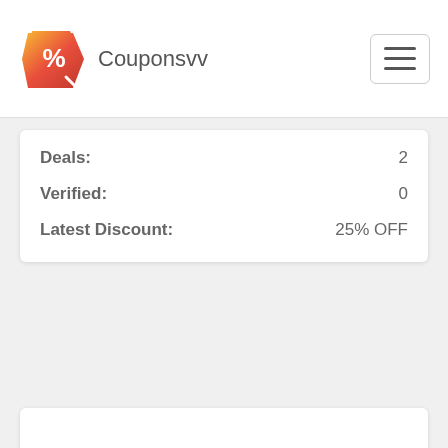Couponsvv
| Deals: | 2 |
| Verified: | 0 |
| Latest Discount: | 25% OFF |
[Figure (other): Empty white content area box]